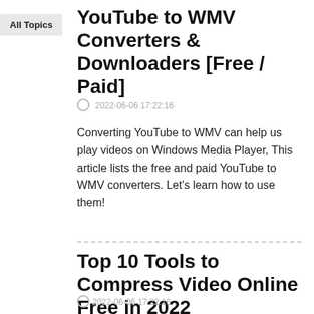All Topics
YouTube to WMV Converters & Downloaders [Free / Paid]
2022-06-06 17:22:16
Converting YouTube to WMV can help us play videos on Windows Media Player, This article lists the free and paid YouTube to WMV converters. Let's learn how to use them!
Top 10 Tools to Compress Video Online Free in 2022
2022-06-06 17:22:16
Here lists the 2022 best 10 free video compressor